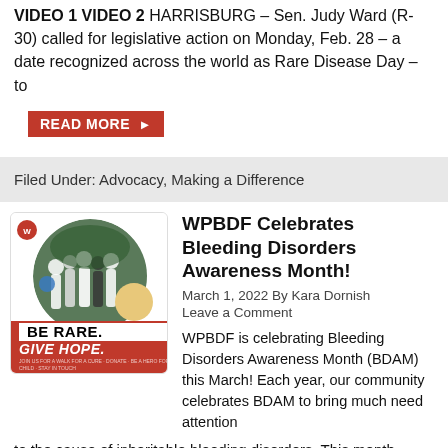VIDEO 1 VIDEO 2  HARRISBURG – Sen. Judy Ward (R-30) called for legislative action on Monday, Feb. 28 – a date recognized across the world as Rare Disease Day – to
READ MORE »
Filed Under: Advocacy, Making a Difference
WPBDF Celebrates Bleeding Disorders Awareness Month!
March 1, 2022 By Kara Dornish
Leave a Comment
[Figure (photo): Promotional image with people walking in white shirts in a circular photo, BE RARE. GIVE HOPE. text on red banner, WPBDF logo top left]
WPBDF is celebrating Bleeding Disorders Awareness Month (BDAM) this March! Each year, our community celebrates BDAM to bring much need attention to the cause of inheritable bleeding disorders. This month